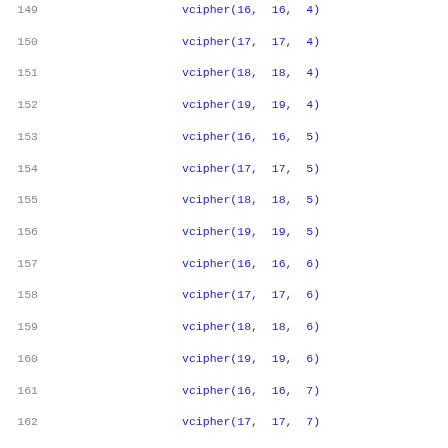Code listing lines 149-180 showing vcipher, vcipherlast, and vperm assembly instructions with line numbers